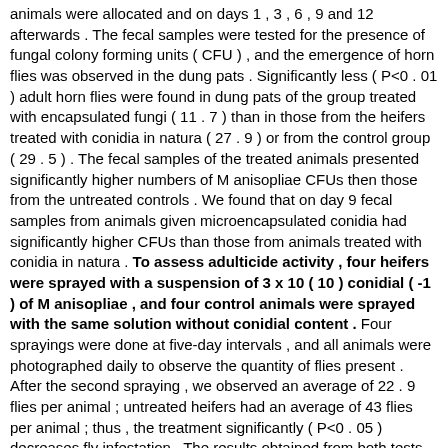animals were allocated and on days 1 , 3 , 6 , 9 and 12 afterwards . The fecal samples were tested for the presence of fungal colony forming units ( CFU ) , and the emergence of horn flies was observed in the dung pats . Significantly less ( P<0 . 01 ) adult horn flies were found in dung pats of the group treated with encapsulated fungi ( 11 . 7 ) than in those from the heifers treated with conidia in natura ( 27 . 9 ) or from the control group ( 29 . 5 ) . The fecal samples of the treated animals presented significantly higher numbers of M anisopliae CFUs then those from the untreated controls . We found that on day 9 fecal samples from animals given microencapsulated conidia had significantly higher CFUs than those from animals treated with conidia in natura . To assess adulticide activity , four heifers were sprayed with a suspension of 3 x 10 ( 10 ) conidial ( -1 ) of M anisopliae , and four control animals were sprayed with the same solution without conidial content . Four sprayings were done at five-day intervals , and all animals were photographed daily to observe the quantity of flies present . After the second spraying , we observed an average of 22 . 9 flies per animal ; untreated heifers had an average of 43 flies per animal ; thus , the treatment significantly ( P<0 . 05 ) decreases fly infestation . The results obtained from both tests show that M anisopliae strain E9 has a pathogenic effect on H irritans larvae in bovine manure when administered orally and on adult fly infestations when applied as a spray on the hosts . [ Sen. 13, subscore: 1.00 ]: The second group ingested in natura spores that were grown on sterilized rice . In both groups , each animal received three meals a day , with each meal containing 2 x 10 ( 10 ) conidia . The third group received no treatment and was used as a control . Fecal samples from manure and whole dung pats were collected from each of the three separate pastures on the day that the animals were allocated and on days 1 , 3 , 6 , 9 and 12 afterwards . The fecal samples were tested for the presence of fungal colony forming